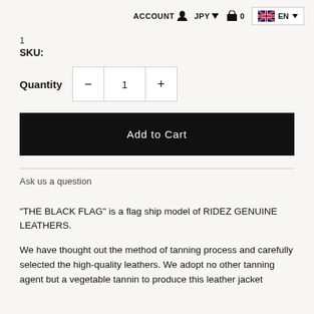ACCOUNT  JPY  0  EN
1
SKU:
Quantity  −  1  +
Add to Cart
Ask us a question
“THE BLACK FLAG” is a flag ship model of RIDEZ GENUINE LEATHERS.
We have thought out the method of tanning process and carefully selected the high-quality leathers. We adopt no other tanning agent but a vegetable tannin to produce this leather jacket